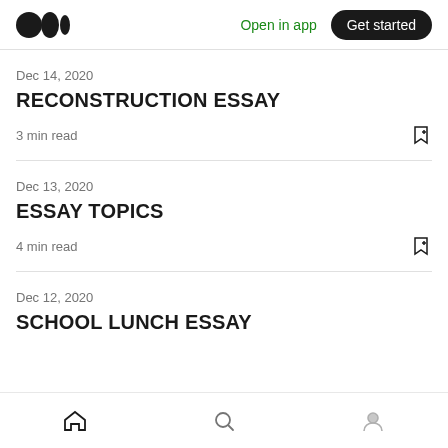Medium logo | Open in app | Get started
Dec 14, 2020
RECONSTRUCTION ESSAY
3 min read
Dec 13, 2020
ESSAY TOPICS
4 min read
Dec 12, 2020
SCHOOL LUNCH ESSAY
Home | Search | Profile